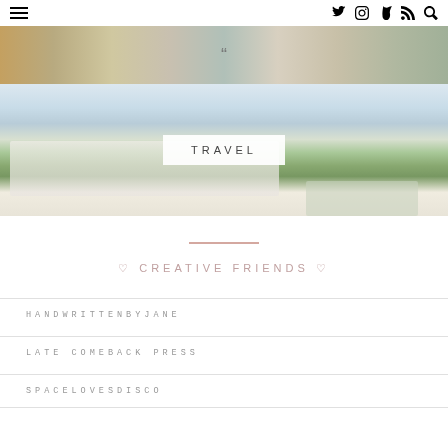≡  [twitter] [instagram] [tumblr] [rss] [search]
[Figure (photo): Top banner photo of a person with items, cropped — lifestyle blog header image]
[Figure (photo): Photo of coastal houses with trees and ocean in background, with overlay label TRAVEL]
—
♡ CREATIVE FRIENDS ♡
HANDWRITTENBYJANE
LATE COMEBACK PRESS
SPACELOVESDISCO